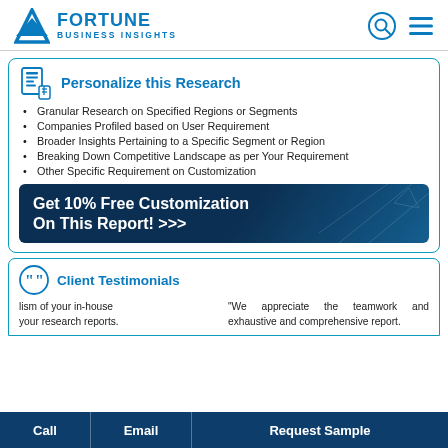Fortune Business Insights
Personalize this Research
Granular Research on Specified Regions or Segments
Companies Profiled based on User Requirement
Broader Insights Pertaining to a Specific Segment or Region
Breaking Down Competitive Landscape as per Your Requirement
Other Specific Requirement on Customization
Get 10% Free Customization On This Report! >>>
Client Testimonials
lism of your in-house your research reports.
"We appreciate the teamwork and exhaustive and comprehensive report.
Call | Email | Request Sample